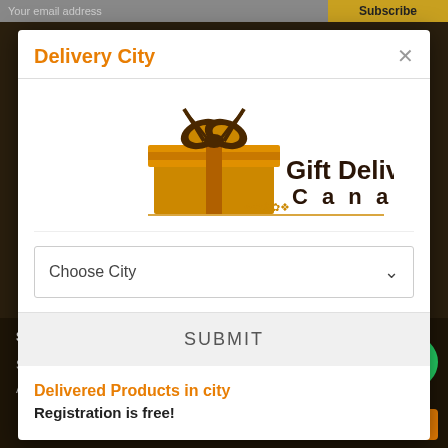Your email address  Subscribe
Delivery City
[Figure (logo): Gift Delivery Canada logo with a brown gift box and decorative text]
Choose City
SUBMIT
Delivered Products in city
Registration is free!
SERVICES  ACCOUNT  LINKS  Shipping & Returns  Login  FAQs  About Us  Register  Reviews